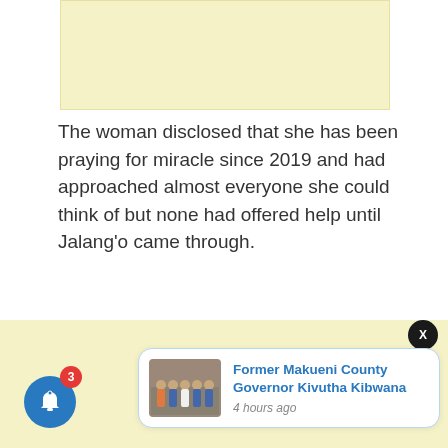[Figure (other): Advertisement banner (light yellow background)]
The woman disclosed that she has been praying for miracle since 2019 and had approached almost everyone she could think of but none had offered help until Jalang'o came through.
[Figure (other): Advertisement area (large light yellow background block)]
[Figure (other): Close button (dark circle with X)]
[Figure (other): Notification card with group photo thumbnail and text: Former Makueni County Governor Kivutha Kibwana, 4 hours ago]
[Figure (other): Blue bell notification button with red badge showing 3]